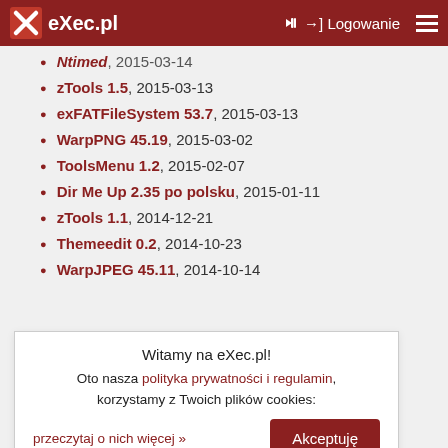eXec.pl | Logowanie
zTools 1.5, 2015-03-13
exFATFileSystem 53.7, 2015-03-13
WarpPNG 45.19, 2015-03-02
ToolsMenu 1.2, 2015-02-07
Dir Me Up 2.35 po polsku, 2015-01-11
zTools 1.1, 2014-12-21
Themeedit 0.2, 2014-10-23
WarpJPEG 45.11, 2014-10-14
Witamy na eXec.pl!
Oto nasza polityka prywatności i regulamin, korzystamy z Twoich plików cookies:
przeczytaj o nich więcej »
Akceptuję
aMath 1.2b, 2014-08-01